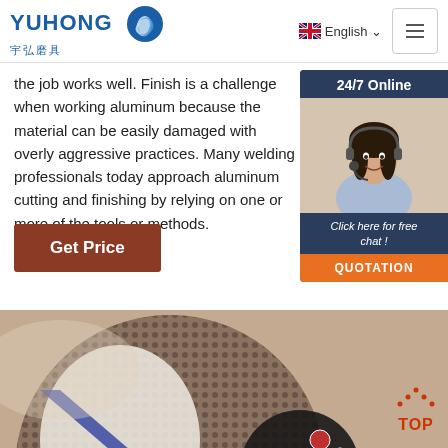YUHONG 宇弘磨具 | English
the job works well. Finish is a challenge when working aluminum because the material can be easily damaged with overly aggressive practices. Many welding professionals today approach aluminum cutting and finishing by relying on one or more of the tools or methods.
Get Price
[Figure (photo): 24/7 Online chat widget with customer service representative photo, 'Click here for free chat!' and QUOTATION button]
[Figure (photo): Close-up photo of an abrasive grinding disc product with diamond segments]
TOP